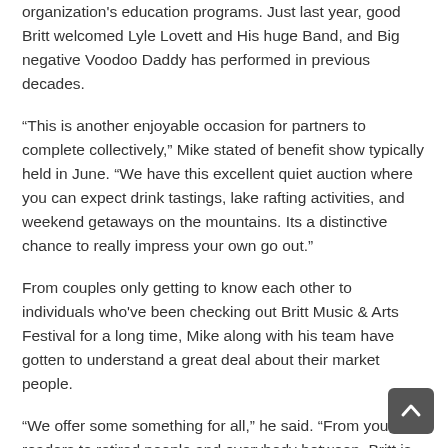organization's education programs. Just last year, good Britt welcomed Lyle Lovett and His huge Band, and Big negative Voodoo Daddy has performed in previous decades.
“This is another enjoyable occasion for partners to complete collectively,” Mike stated of benefit show typically held in June. “We have this excellent quiet auction where you can expect drink tastings, lake rafting activities, and weekend getaways on the mountains. Its a distinctive chance to really impress your own go out.”
From couples only getting to know each other to individuals who've been checking out Britt Music & Arts Festival for a long time, Mike along with his team have gotten to understand a great deal about their market people.
“We offer some something for all,” he said. “From younger readers to retired people and everybody between, Britt is an awesome destination that produces thoughts to keep going